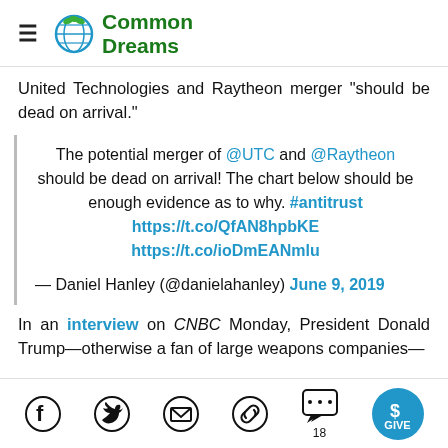Common Dreams
United Technologies and Raytheon merger "should be dead on arrival."
The potential merger of @UTC and @Raytheon should be dead on arrival! The chart below should be enough evidence as to why. #antitrust https://t.co/QfAN8hpbKE https://t.co/ioDmEANmlu
— Daniel Hanley (@danielahanley) June 9, 2019
In an interview on CNBC Monday, President Donald Trump—otherwise a fan of large weapons companies—
Social share icons: Facebook, Twitter, Email, Link, Comments (18), GIVE